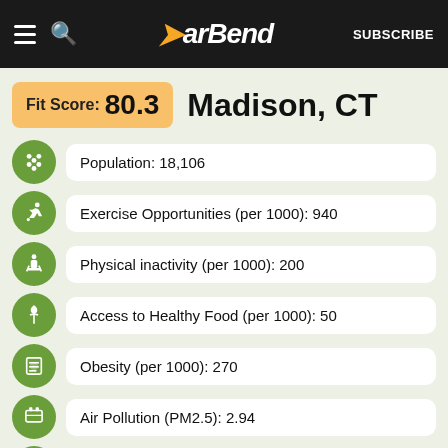BarBend — SUBSCRIBE
Fit Score: 80.3  Madison, CT
Population: 18,106
Exercise Opportunities (per 1000): 940
Physical inactivity (per 1000): 200
Access to Healthy Food (per 1000): 50
Obesity (per 1000): 270
Air Pollution (PM2.5): 2.94
Smoking (per 1000): 140